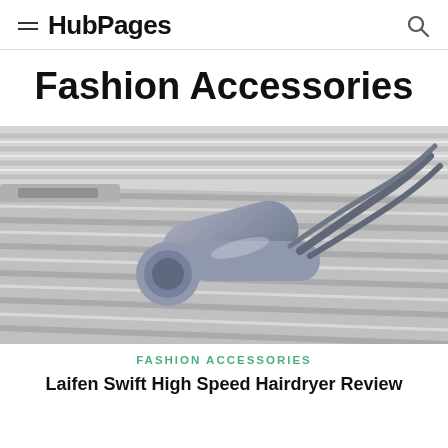≡ HubPages 🔍
Fashion Accessories
[Figure (photo): Close-up photo of a silver/metallic hair dryer with cord resting on top of a silver ribbed aluminum suitcase]
FASHION ACCESSORIES
Laifen Swift High Speed Hairdryer Review